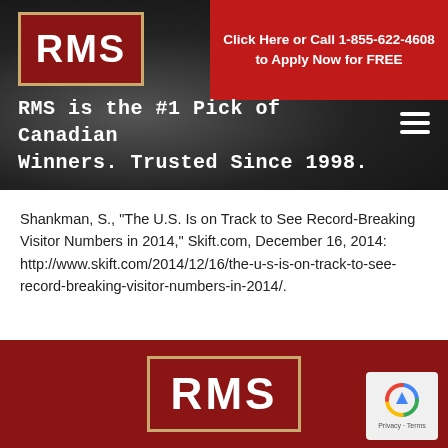[Figure (logo): RMS logo in red box with gold border, top left of dark header]
Click Here or Call 1-855-622-4608 to Apply Now for FREE
RMS is the #1 Pick of Canadian Winners. Trusted Since 1998.
Shankman, S., “The U.S. Is on Track to See Record-Breaking Visitor Numbers in 2014,” Skift.com, December 16, 2014: http://www.skift.com/2014/12/16/the-u-s-is-on-track-to-see-record-breaking-visitor-numbers-in-2014/.
[Figure (logo): RMS logo in red box with gold border, centered in red footer]
[Figure (other): Google reCAPTCHA badge with Privacy and Terms text, bottom right]